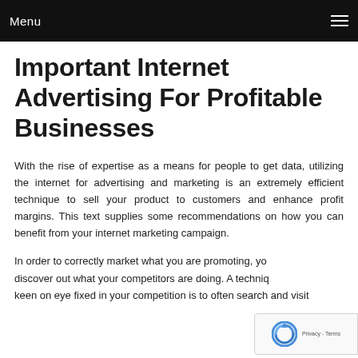Menu
Important Internet Advertising For Profitable Businesses
With the rise of expertise as a means for people to get data, utilizing the internet for advertising and marketing is an extremely efficient technique to sell your product to customers and enhance profit margins. This text supplies some recommendations on how you can benefit from your internet marketing campaign.
In order to correctly market what you are promoting, yo... discover out what your competitors are doing. A techniq... keen on eye fixed in your competition is to often search and visit...